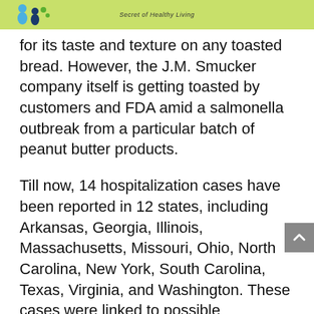Secret of Healthy Living
for its taste and texture on any toasted bread. However, the J.M. Smucker company itself is getting toasted by customers and FDA amid a salmonella outbreak from a particular batch of peanut butter products.
Till now, 14 hospitalization cases have been reported in 12 states, including Arkansas, Georgia, Illinois, Massachusetts, Missouri, Ohio, North Carolina, New York, South Carolina, Texas, Virginia, and Washington. These cases were linked to possible salmonella infection from Jif’s peanut butter.
FDA has announced the name of 49 products that